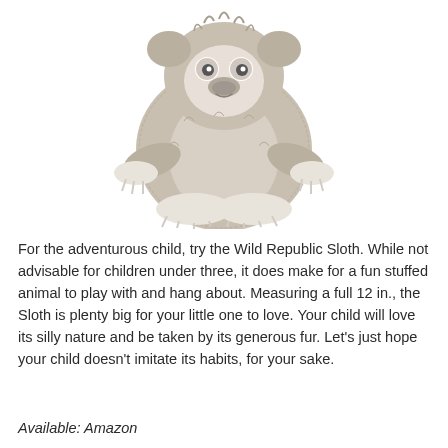[Figure (photo): A plush stuffed sloth toy (Wild Republic Sloth) sitting upright. The toy has fluffy grey-brown fur, white/cream colored claws, and a round face with a gentle expression. It is photographed against a white background.]
For the adventurous child, try the Wild Republic Sloth. While not advisable for children under three, it does make for a fun stuffed animal to play with and hang about. Measuring a full 12 in., the Sloth is plenty big for your little one to love. Your child will love its silly nature and be taken by its generous fur. Let's just hope your child doesn't imitate its habits, for your sake.
Available: Amazon